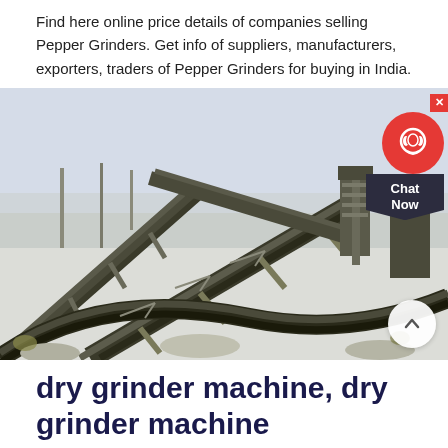Find here online price details of companies selling Pepper Grinders. Get info of suppliers, manufacturers, exporters, traders of Pepper Grinders for buying in India.
[Figure (photo): Industrial mining or quarrying machinery with conveyor belts and large metal structures, set in a dusty white/grey landscape. A red chat widget with headphone icon and 'Chat Now' label overlays the top-right corner.]
dry grinder machine, dry grinder machine Suppliers